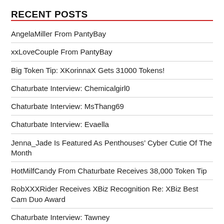RECENT POSTS
AngelaMiller From PantyBay
xxLoveCouple From PantyBay
Big Token Tip: XKorinnaX Gets 31000 Tokens!
Chaturbate Interview: Chemicalgirl0
Chaturbate Interview: MsThang69
Chaturbate Interview: Evaella
Jenna_Jade Is Featured As Penthouses’ Cyber Cutie Of The Month
HotMilfCandy From Chaturbate Receives 38,000 Token Tip
RobXXXRider Receives XBiz Recognition Re: XBiz Best Cam Duo Award
Chaturbate Interview: Tawney